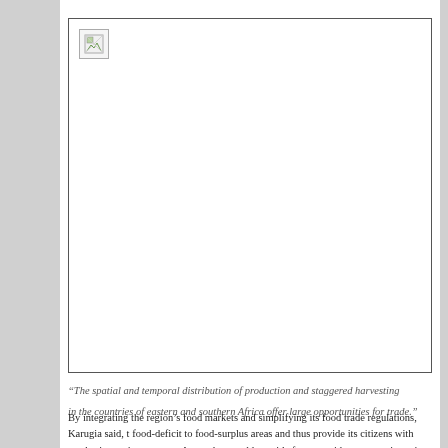[Figure (photo): A photo placeholder (broken image icon) representing an image related to food markets or agriculture in eastern and southern Africa.]
“The spatial and temporal distribution of production and staggered harvesting in the countries of eastern and southern Africa offer large opportunities for trade.”
By integrating the region’s food markets and simplifying its food trade regulations, Karugia said, t food-deficit to food-surplus areas and thus provide its citizens with staples in an given season. A t market would provide farmers with remunerative prices and alternative reliable markets for their p